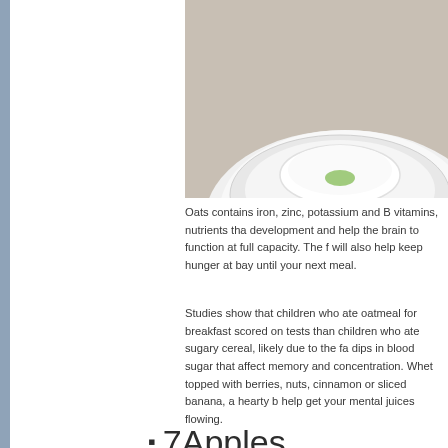[Figure (photo): White ceramic cup/bowl on a linen surface, top portion of image, partially cropped]
Oats contains iron, zinc, potassium and B vitamins, nutrients that support brain development and help the brain to function at full capacity. The fiber in oats will also help keep hunger at bay until your next meal.
Studies show that children who ate oatmeal for breakfast scored significantly higher on tests than children who ate sugary cereal, likely due to the fact that oats prevent dips in blood sugar that affect memory and concentration. Whether plain or topped with berries, nuts, cinnamon or sliced banana, a hearty bowl of oats will help get your mental juices flowing.
7Apples
[Figure (photo): Green apples with water droplets, close-up, partially cropped at bottom of page]